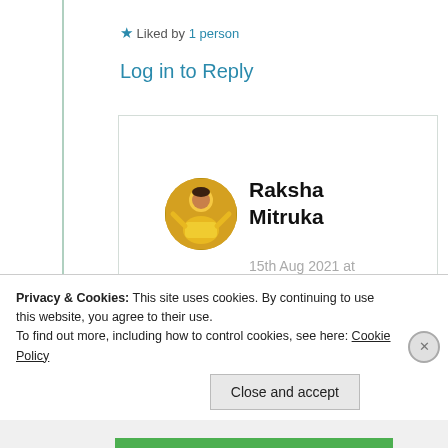★ Liked by 1 person
Log in to Reply
Raksha Mitruka
15th Aug 2021 at 6:46 pm
Privacy & Cookies: This site uses cookies. By continuing to use this website, you agree to their use. To find out more, including how to control cookies, see here: Cookie Policy
Close and accept